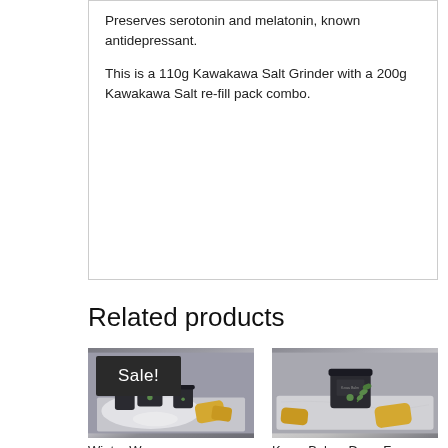Preserves serotonin and melatonin, known antidepressant.

This is a 110g Kawakawa Salt Grinder with a 200g Kawakawa Salt re-fill pack combo.
Related products
[Figure (photo): Product photo showing multiple dark jars with green labels, alongside yellow wax pieces on a white cloth. Sale badge overlay.]
Winter Warmer
[Figure (photo): Product photo showing a dark jar labeled Kawa Balm alongside beeswax pieces and green herb sprigs on a white marble surface.]
Kawa Balm : Deep Face